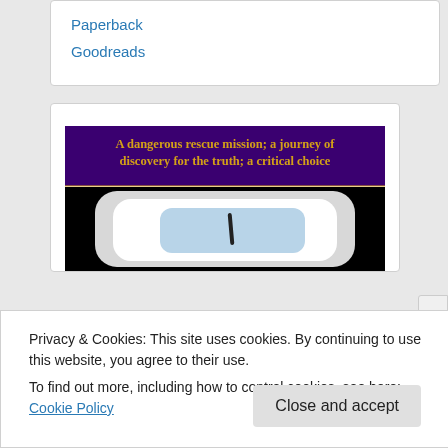Paperback
Goodreads
[Figure (illustration): Book cover image with dark purple header text 'A dangerous rescue mission; a journey of discovery for the truth; a critical choice' in gold/orange, and below a stylized image of a rounded white/blue tablet or device on a black background]
Privacy & Cookies: This site uses cookies. By continuing to use this website, you agree to their use.
To find out more, including how to control cookies, see here: Cookie Policy